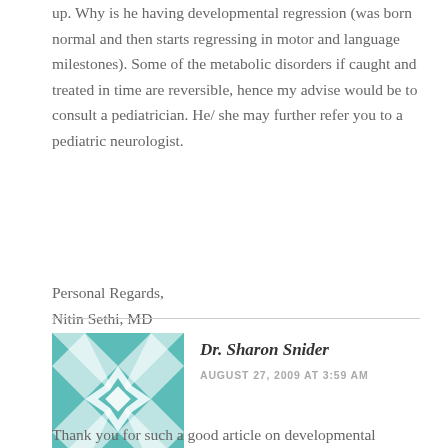up. Why is he having developmental regression (was born normal and then starts regressing in motor and language milestones). Some of the metabolic disorders if caught and treated in time are reversible, hence my advise would be to consult a pediatrician. He/ she may further refer you to a pediatric neurologist.
Personal Regards,
Nitin Sethi, MD
[Figure (illustration): Teal/turquoise geometric quilt-pattern avatar icon with symmetrical star/pinwheel design]
Dr. Sharon Snider
AUGUST 27, 2009 AT 3:59 AM
Thank you for such a good article on developmental